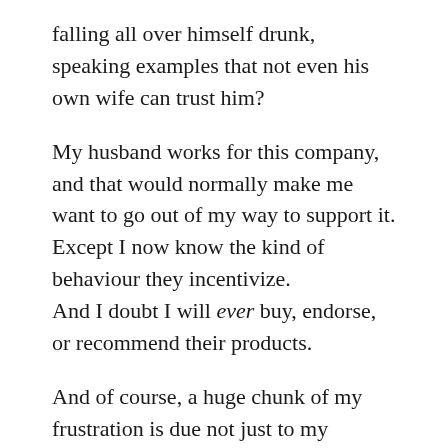falling all over himself drunk, speaking examples that not even his own wife can trust him?
My husband works for this company, and that would normally make me want to go out of my way to support it. Except I now know the kind of behaviour they incentivize. And I doubt I will ever buy, endorse, or recommend their products.
And of course, a huge chunk of my frustration is due not just to my husband’s company {and their partner company} but also to corporate America as a whole… Corporate America who